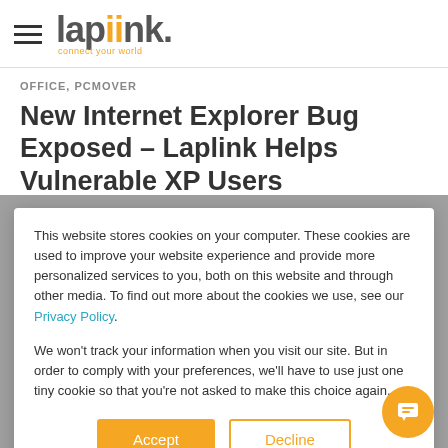laplink. connect your world
OFFICE, PCMOVER
New Internet Explorer Bug Exposed – Laplink Helps Vulnerable XP Users
A new vulnerability affecting Internet
This website stores cookies on your computer. These cookies are used to improve your website experience and provide more personalized services to you, both on this website and through other media. To find out more about the cookies we use, see our Privacy Policy.
We won't track your information when you visit our site. But in order to comply with your preferences, we'll have to use just one tiny cookie so that you're not asked to make this choice again.